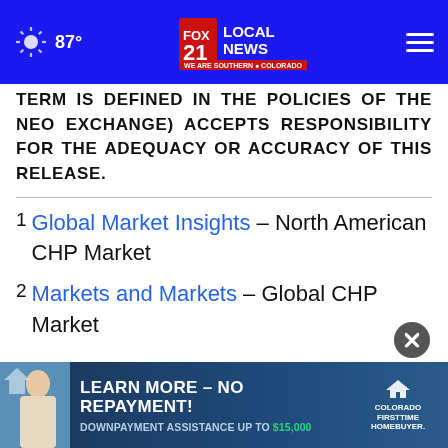FOX 21 LOCAL NEWS – WE ARE SOUTHERN COLORADO | 87°
TERM IS DEFINED IN THE POLICIES OF THE NEO EXCHANGE) ACCEPTS RESPONSIBILITY FOR THE ADEQUACY OR ACCURACY OF THIS RELEASE.
1 Global Market Insights – North American CHP Market
2 Markets and Markets – Global CHP Market
[Figure (infographic): Advertisement banner: LEARN MORE – NO REPAYMENT! DOWNPAYMENT ASSISTANCE UP TO $15,000 – Colorado First Time Homebuyer]